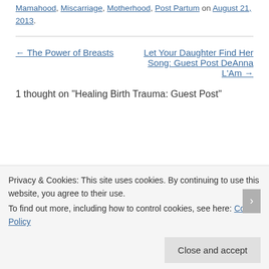Mamahood, Miscarriage, Motherhood, Post Partum on August 21, 2013.
← The Power of Breasts
Let Your Daughter Find Her Song: Guest Post DeAnna L'Am →
1 thought on "Healing Birth Trauma: Guest Post"
Privacy & Cookies: This site uses cookies. By continuing to use this website, you agree to their use.
To find out more, including how to control cookies, see here: Cookie Policy
Close and accept